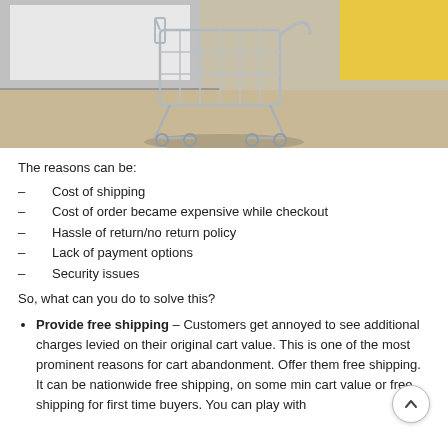[Figure (photo): Photo of a small chrome shopping cart on a wooden surface with a laptop in the background]
The reasons can be:
– Cost of shipping
– Cost of order became expensive while checkout
– Hassle of return/no return policy
– Lack of payment options
– Security issues
So, what can you do to solve this?
Provide free shipping – Customers get annoyed to see additional charges levied on their original cart value. This is one of the most prominent reasons for cart abandonment. Offer them free shipping. It can be nationwide free shipping, on some min cart value or free shipping for first time buyers. You can play with